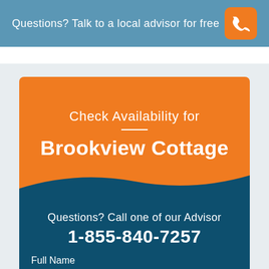Questions? Talk to a local advisor for free
Check Availability for Brookview Cottage
Questions? Call one of our Advisor
1-855-840-7257
Full Name
Phone